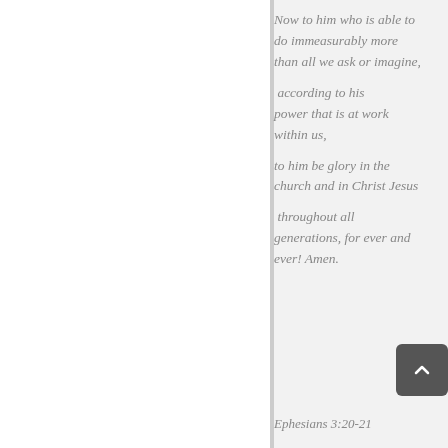Now to him who is able to do immeasurably more than all we ask or imagine, according to his power that is at work within us, to him be glory in the church and in Christ Jesus throughout all generations, for ever and ever! Amen.
Ephesians 3:20-21